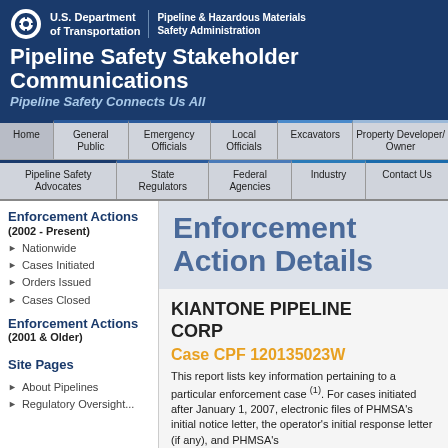U.S. Department of Transportation | Pipeline & Hazardous Materials Safety Administration
Pipeline Safety Stakeholder Communications
Pipeline Safety Connects Us All
| Home | General Public | Emergency Officials | Local Officials | Excavators | Property Developer/Owner |
| --- | --- | --- | --- | --- | --- |
| Pipeline Safety Advocates | State Regulators | Federal Agencies | Industry | Contact Us |
| --- | --- | --- | --- | --- |
Enforcement Actions (2002 - Present)
Nationwide
Cases Initiated
Orders Issued
Cases Closed
Enforcement Actions (2001 & Older)
Site Pages
About Pipelines
Enforcement Action Details
KIANTONE PIPELINE CORP
Case CPF 120135023W
This report lists key information pertaining to a particular enforcement case (1). For cases initiated after January 1, 2007, electronic files of PHMSA's initial notice letter, the operator's initial response letter (if any), and PHMSA's